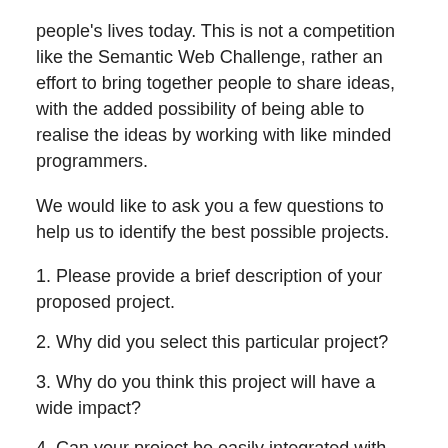people's lives today. This is not a competition like the Semantic Web Challenge, rather an effort to bring together people to share ideas, with the added possibility of being able to realise the ideas by working with like minded programmers.
We would like to ask you a few questions to help us to identify the best possible projects.
1. Please provide a brief description of your proposed project.
2. Why did you select this particular project?
3. Why do you think this project will have a wide impact?
4. Can your project be easily integrated with other wide-spread systems? If so, which and how?
5. Why is it that this project should be done right now, i.e.